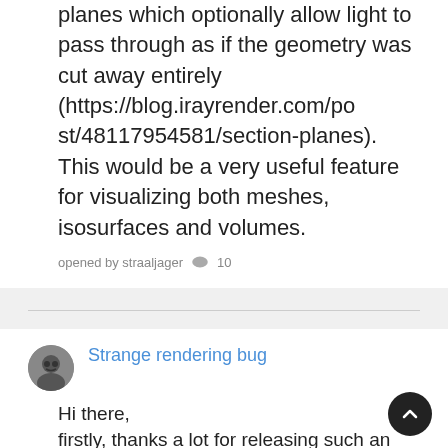planes which optionally allow light to pass through as if the geometry was cut away entirely (https://blog.irayrender.com/post/48117954581/section-planes). This would be a very useful feature for visualizing both meshes, isosurfaces and volumes.
opened by straaljager 💬 10
Strange rendering bug
Hi there,
firstly, thanks a lot for releasing such an awesome framework!